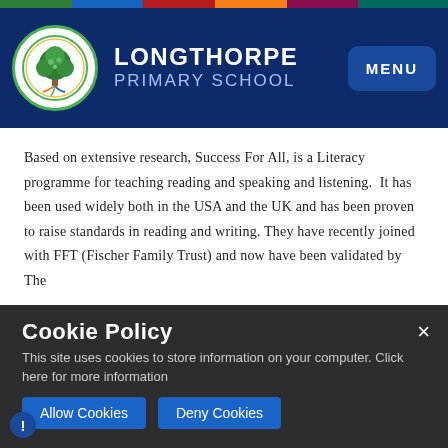[Figure (logo): Longthorpe Primary School logo: tree inside a circle with colorful roots, school name and MENU button on dark blue header]
Based on extensive research, Success For All, is a Literacy programme for teaching reading and speaking and listening. It has been used widely both in the USA and the UK and has been proven to raise standards in reading and writing. They have recently joined with FFT (Fischer Family Trust) and now have been validated by The
Department for Education for their Phonics programm.
The ph... ust of the... includ... ages. EYFS... pieces of learnin... Children also learn to work with anim... Years. Children also learn to work with anim...
Cookie Policy
This site uses cookies to store information on your computer. Click here for more information
Allow Cookies   Deny Cookies